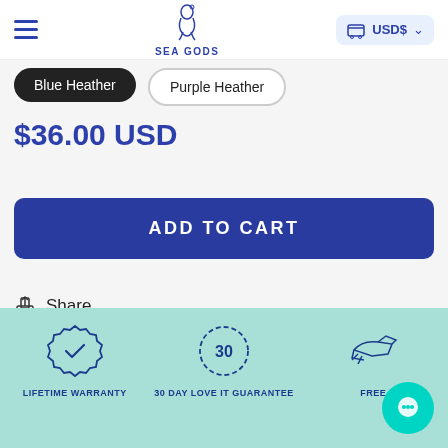SEA GODS — USD$ navigation bar
Blue Heather
Purple Heather
$36.00 USD
ADD TO CART
Share
LIFETIME WARRANTY
30 DAY LOVE IT GUARANTEE
FREE